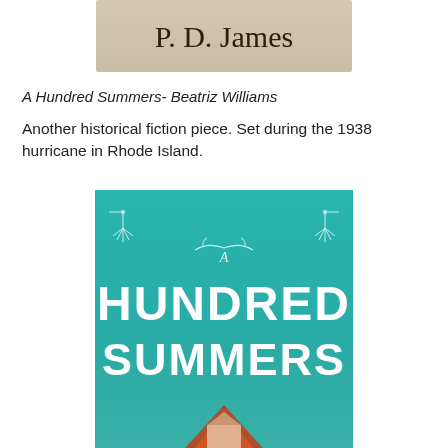[Figure (photo): Book cover detail showing 'P. D. James' text on a beige/tan background]
A Hundred Summers- Beatriz Williams
Another historical fiction piece. Set during the 1938 hurricane in Rhode Island.
[Figure (photo): Book cover of 'A Hundred Summers' with teal/turquoise background, white art deco decorative elements and large white text reading 'A HUNDRED SUMMERS']